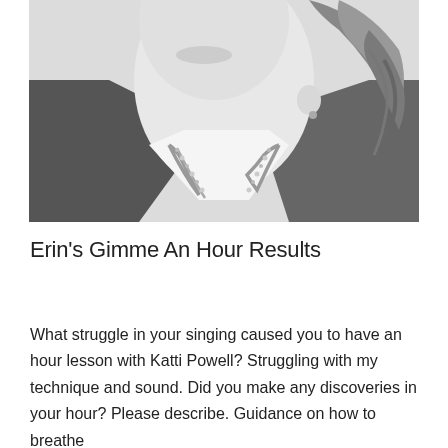[Figure (photo): Black and white close-up photograph of a woman from chin/nose level down, showing her neck, hair, and sparkly necklace jewelry, wearing a dark jacket over a white top]
Erin’s Gimme An Hour Results
What struggle in your singing caused you to have an hour lesson with Katti Powell? Struggling with my technique and sound. Did you make any discoveries in your hour? Please describe. Guidance on how to breathe